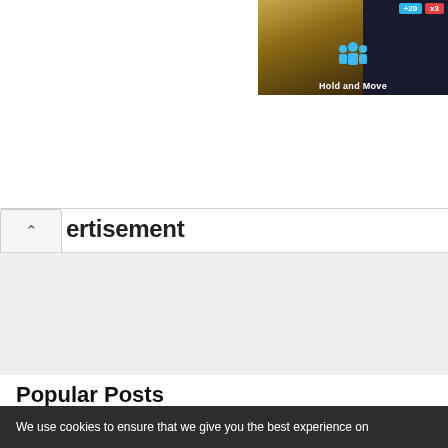[Figure (screenshot): Partial game advertisement banner in top-right corner showing 'Hold and Move' game with dark background, player icons, and score badges (+20, x3)]
ertisement
[Figure (other): Gray advertisement space / empty ad placeholder area]
Popular Posts
Laravel 9 YajraBox Datatable Custom Filter and Search Tutorial
We use cookies to ensure that we give you the best experience on